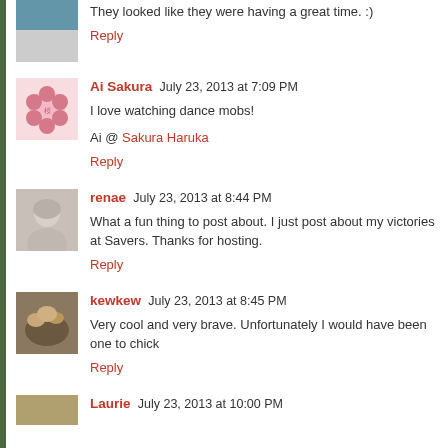They looked like they were having a great time. :)
Reply
Ai Sakura  July 23, 2013 at 7:09 PM
I love watching dance mobs!
Ai @ Sakura Haruka
Reply
renae  July 23, 2013 at 8:44 PM
What a fun thing to post about. I just post about my victories at Savers. Thanks for hosting.
Reply
kewkew  July 23, 2013 at 8:45 PM
Very cool and very brave. Unfortunately I would have been one to chick
Reply
Laurie  July 23, 2013 at 10:00 PM